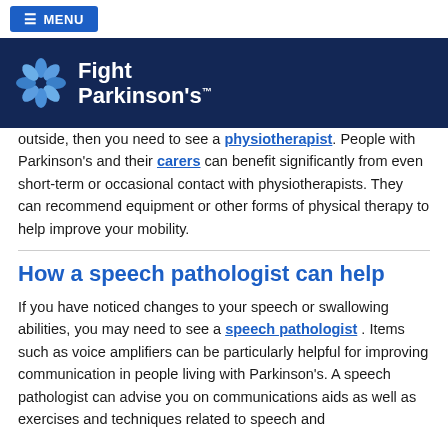≡ MENU
[Figure (logo): Fight Parkinson's logo with white pinwheel icon and white bold text on dark navy background]
outside, then you need to see a physiotherapist. People with Parkinson's and their carers can benefit significantly from even short-term or occasional contact with physiotherapists. They can recommend equipment or other forms of physical therapy to help improve your mobility.
How a speech pathologist can help
If you have noticed changes to your speech or swallowing abilities, you may need to see a speech pathologist . Items such as voice amplifiers can be particularly helpful for improving communication in people living with Parkinson's. A speech pathologist can advise you on communications aids as well as exercises and techniques related to speech and swallowing.